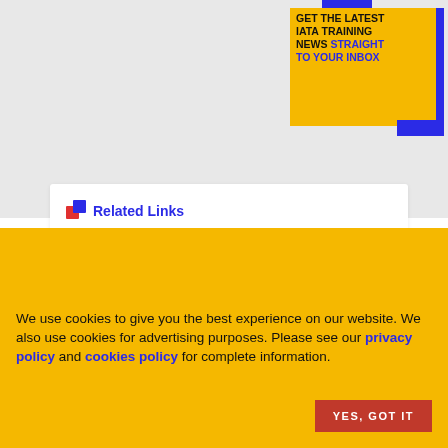[Figure (infographic): Yellow promotional box with blue accent corners on grey background. Text reads: GET THE LATEST IATA TRAINING NEWS STRAIGHT TO YOUR INBOX (black for first part, blue for STRAIGHT TO YOUR INBOX)]
Related Links
[Figure (logo): Blue circle with FAQ text inside, representing a Frequently Asked Questions graphic icon]
We use cookies to give you the best experience on our website. We also use cookies for advertising purposes. Please see our privacy policy and cookies policy for complete information.